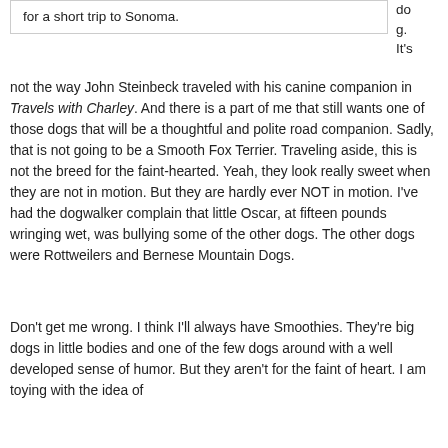for a short trip to Sonoma.
do g. It's
not the way John Steinbeck traveled with his canine companion in Travels with Charley. And there is a part of me that still wants one of those dogs that will be a thoughtful and polite road companion. Sadly, that is not going to be a Smooth Fox Terrier. Traveling aside, this is not the breed for the faint-hearted. Yeah, they look really sweet when they are not in motion. But they are hardly ever NOT in motion. I've had the dogwalker complain that little Oscar, at fifteen pounds wringing wet, was bullying some of the other dogs. The other dogs were Rottweilers and Bernese Mountain Dogs.
Don't get me wrong. I think I'll always have Smoothies. They're big dogs in little bodies and one of the few dogs around with a well developed sense of humor. But they aren't for the faint of heart. I am toying with the idea of